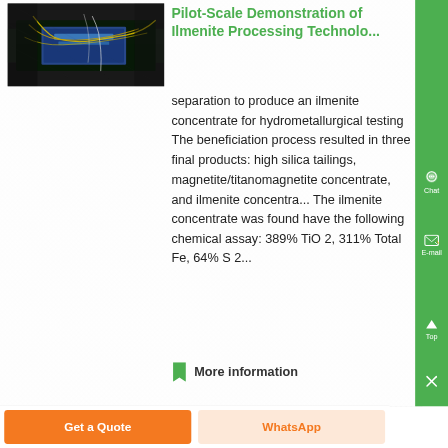[Figure (photo): Photo of industrial equipment with wires and cables, likely mineral processing machinery]
Pilot-Scale Demonstration of Ilmenite Processing Technolo...
separation to produce an ilmenite concentrate for hydrometallurgical testing The beneficiation process resulted in three final products: high silica tailings, magnetite/titanomagnetite concentrate, and ilmenite concentrate. The ilmenite concentrate was found to have the following chemical assay: 389% TiO 2, 311% Total Fe, 64% S 2...
More information
Get a Quote
WhatsApp